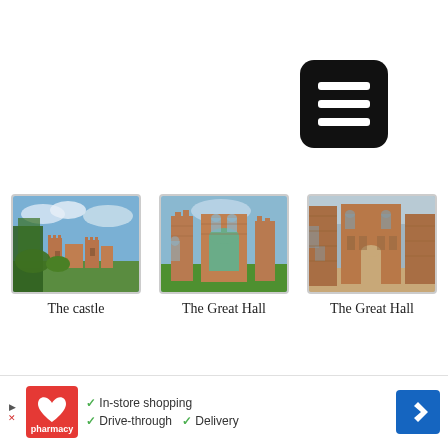[Figure (screenshot): Hamburger menu button (black rounded rectangle with three white bars) in top-right corner]
[Figure (photo): Photo thumbnail of Kenilworth Castle exterior view with trees and blue sky — labeled 'The castle']
The castle
[Figure (photo): Photo thumbnail of The Great Hall ruins at Kenilworth Castle with green lawn — labeled 'The Great Hall']
The Great Hall
[Figure (photo): Photo thumbnail of The Great Hall interior stonework at Kenilworth Castle — labeled 'The Great Hall']
The Great Hall
[Figure (photo): Partially visible photo thumbnail in bottom-left — cropped by ad banner]
[Figure (photo): Partially visible photo thumbnail in bottom-center — cropped by ad banner]
[Figure (photo): Partially visible photo thumbnail in bottom-right — cropped by ad banner]
[Figure (screenshot): CVS Pharmacy advertisement banner at bottom with checkmark items: In-store shopping, Drive-through, Delivery and a blue navigation arrow button]